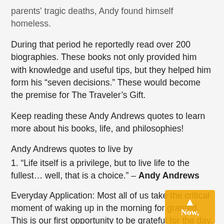parents' tragic deaths, Andy found himself homeless.
During that period he reportedly read over 200 biographies. These books not only provided him with knowledge and useful tips, but they helped him form his “seven decisions.” These would become the premise for The Traveler’s Gift.
Keep reading these Andy Andrews quotes to learn more about his books, life, and philosophies!
Andy Andrews quotes to live by
1. “Life itself is a privilege, but to live life to the fullest… well, that is a choice.” – Andy Andrews
Everyday Application: Most all of us take the critical moment of waking up in the morning for granted. This is our first opportunity to be grateful for the day. We are alive and that is not guaranteed to anyone. Now, what you do with your life while you are living it is entirely a matter of choices; how do you respond to